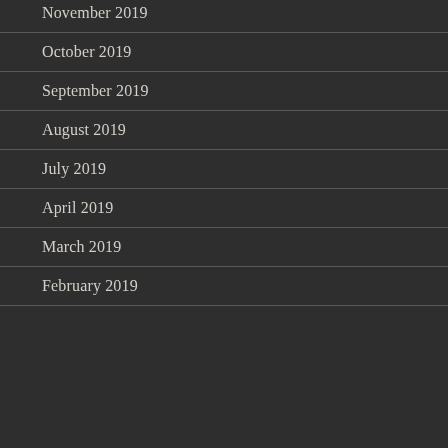November 2019
October 2019
September 2019
August 2019
July 2019
April 2019
March 2019
February 2019